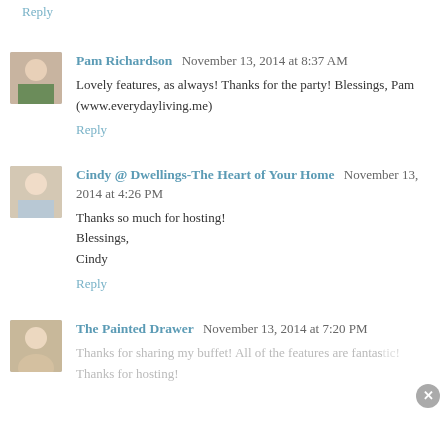Reply
Pam Richardson  November 13, 2014 at 8:37 AM
Lovely features, as always! Thanks for the party! Blessings, Pam (www.everydayliving.me)
Reply
Cindy @ Dwellings-The Heart of Your Home  November 13, 2014 at 4:26 PM
Thanks so much for hosting!
Blessings,
Cindy
Reply
The Painted Drawer  November 13, 2014 at 7:20 PM
Thanks for sharing my buffet! All of the features are fantastic! Thanks for hosting!